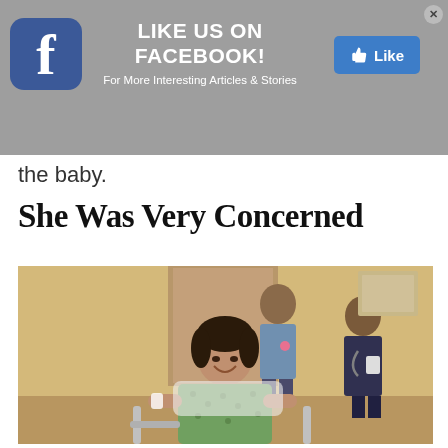[Figure (infographic): Facebook 'Like Us On Facebook!' advertisement banner with Facebook logo icon on left, bold white text 'LIKE US ON FACEBOOK!' in center, subtitle 'For More Interesting Articles & Stories', and a blue Like button on the right. Gray background. Close X button in top-right corner.]
the baby.
She Was Very Concerned
[Figure (photo): A woman in a green hospital gown sitting in a wheelchair or hospital bed, smiling at the camera. Behind her are two medical staff members, one male in blue scrubs and one female in dark scrubs with a stethoscope. Hospital room setting.]